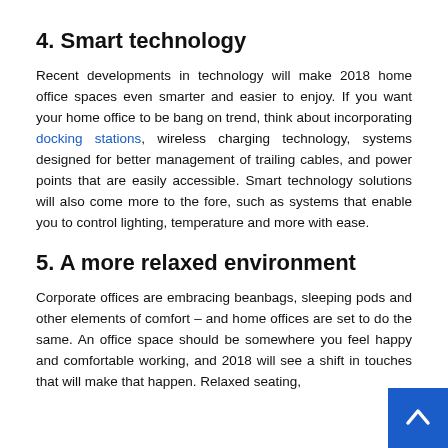4. Smart technology
Recent developments in technology will make 2018 home office spaces even smarter and easier to enjoy. If you want your home office to be bang on trend, think about incorporating docking stations, wireless charging technology, systems designed for better management of trailing cables, and power points that are easily accessible. Smart technology solutions will also come more to the fore, such as systems that enable you to control lighting, temperature and more with ease.
5. A more relaxed environment
Corporate offices are embracing beanbags, sleeping pods and other elements of comfort – and home offices are set to do the same. An office space should be somewhere you feel happy and comfortable working, and 2018 will see a shift in touches that will make that happen. Relaxed seating,